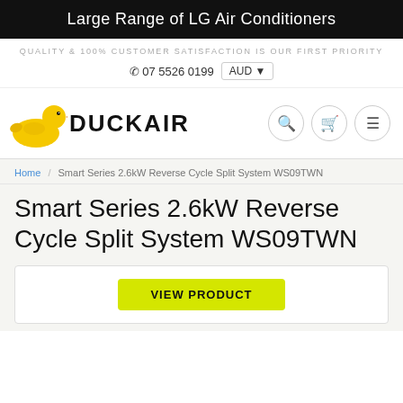Large Range of LG Air Conditioners
QUALITY & 100% CUSTOMER SATISFACTION IS OUR FIRST PRIORITY
07 5526 0199   AUD
[Figure (logo): DuckAir logo with yellow rubber duck and bold black DUCKAIR text]
Home / Smart Series 2.6kW Reverse Cycle Split System WS09TWN
Smart Series 2.6kW Reverse Cycle Split System WS09TWN
VIEW PRODUCT